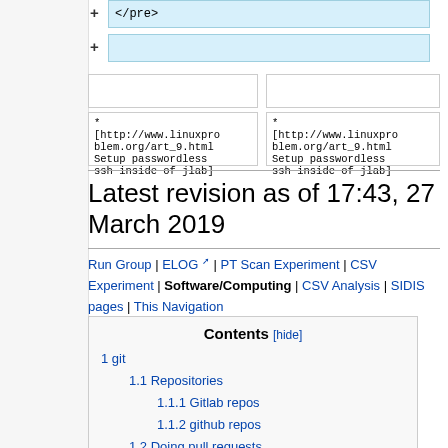[Figure (screenshot): Wiki diff view showing two columns with added lines highlighted in blue. Top row shows '+ </pre>' text in blue cell. Second row shows a '+' with an empty blue cell. Below are two pairs of empty white cells and then two cells with wiki link text.]
Latest revision as of 17:43, 27 March 2019
Run Group | ELOG [external] | PT Scan Experiment | CSV Experiment | Software/Computing | CSV Analysis | SIDIS pages | This Navigation
| Contents | [hide] |
| --- | --- |
| 1 git |  |
| 1.1 Repositories |  |
| 1.1.1 Gitlab repos |  |
| 1.1.2 github repos |  |
| 1.2 Doing pull requests |  |